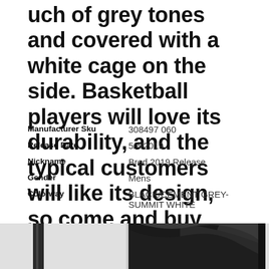uch of grey tones and covered with a white cage on the side. Basketball players will love its durability, and the typical customers will like its design, so come and buy yours now!
| Attribute | Value |
| --- | --- |
| Manufacturer Sku | 308497 060 |
| Release Date | 5/4/2019 |
| Nickname | Bred 2019 Release |
| Gender | Mens |
| Colorway | BLACK/CEMENT GREY-SUMMIT WHITE |
[Figure (photo): Black and white photograph showing a person in dark clothing, partial view, against a grey background with vertical elements]